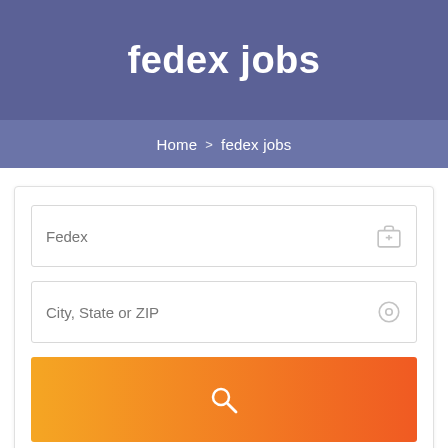fedex jobs
Home > fedex jobs
[Figure (screenshot): Job search form with two input fields: 'Fedex' with briefcase icon, 'City, State or ZIP' with location icon, and an orange gradient search button with magnifying glass icon.]